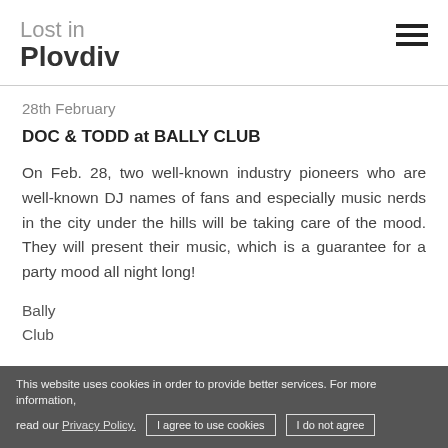Lost in Plovdiv
28th February
DOC & TODD at BALLY CLUB
On Feb. 28, two well-known industry pioneers who are well-known DJ names of fans and especially music nerds in the city under the hills will be taking care of the mood. They will present their music, which is a guarantee for a party mood all night long!
Bally
Club
10 pm – 4 am
This website uses cookies in order to provide better services. For more information, read our Privacy Policy. I agree to use cookies  I do not agree